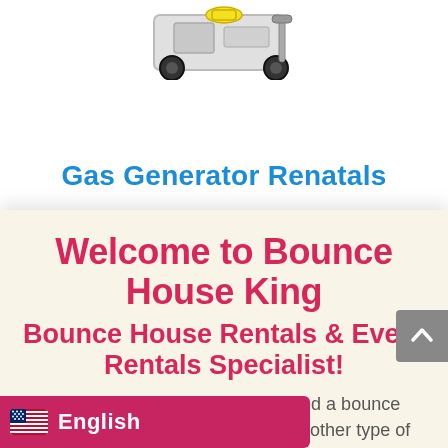[Figure (photo): Partial image of a gas generator with yellow and black wheels visible at top of page]
Gas Generator Renatals
Welcome to Bounce House King
Bounce House Rentals & Event Rentals Specialist!
Have you ever ordered a bounce house or slide or any other type of inflatable and the roof was falling off or it looked nothing like the picture when it got to your house? Have you ever ordered an inflatable online
[Figure (illustration): US flag icon in language selector bar]
English